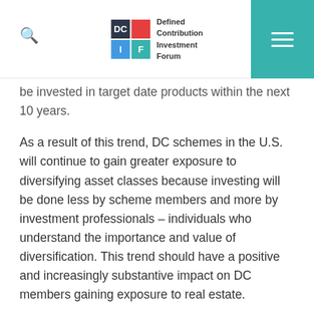DCIF – Defined Contribution Investment Forum
be invested in target date products within the next 10 years.
As a result of this trend, DC schemes in the U.S. will continue to gain greater exposure to diversifying asset classes because investing will be done less by scheme members and more by investment professionals – individuals who understand the importance and value of diversification.  This trend should have a positive and increasingly substantive impact on DC members gaining exposure to real estate.
Why Listed Real Estate?
Quite simply, listed real estate companies